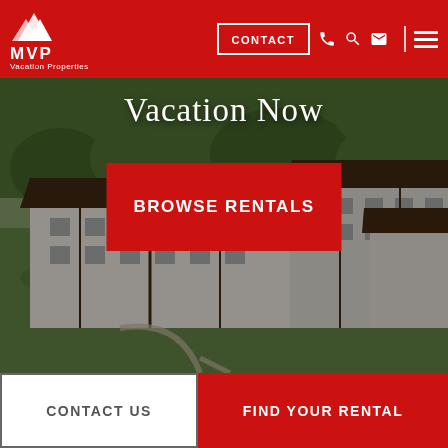MVP Vacation Properties — CONTACT navigation bar
[Figure (screenshot): Hero image of an aerial/elevated view of resort-style multi-story buildings with dark brown roofs, white facades, green lawns and trees, overlaid with 'Vacation Now' text and 'BROWSE RENTALS' red button]
Vacation Now
BROWSE RENTALS
CONTACT US
FIND YOUR RENTAL